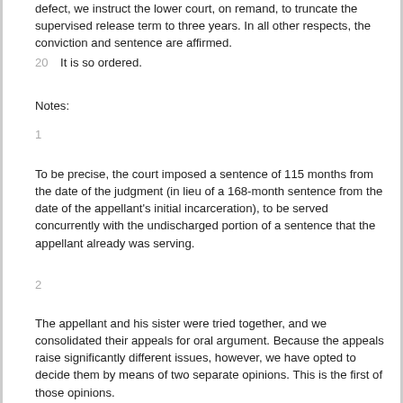defect, we instruct the lower court, on remand, to truncate the supervised release term to three years. In all other respects, the conviction and sentence are affirmed.
20  It is so ordered.
Notes:
1
To be precise, the court imposed a sentence of 115 months from the date of the judgment (in lieu of a 168-month sentence from the date of the appellant's initial incarceration), to be served concurrently with the undischarged portion of a sentence that the appellant already was serving.
2
The appellant and his sister were tried together, and we consolidated their appeals for oral argument. Because the appeals raise significantly different issues, however, we have opted to decide them by means of two separate opinions. This is the first of those opinions.